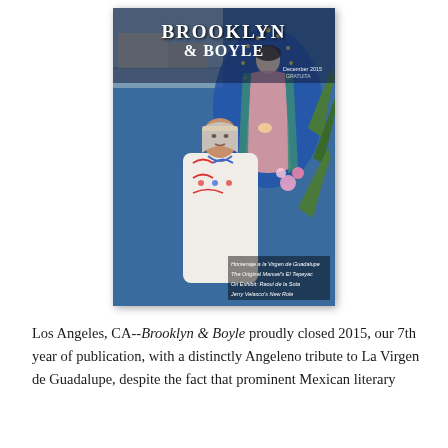[Figure (photo): Cover of Brooklyn & Boyle magazine, December 2015. Shows a woman in traditional embroidered Mexican dress standing in front of a mosaic mural of the Virgin of Guadalupe. Cover lines read: 'Homenaje a la Virgen de Guadalupe', 'The Original Manuel's El Tepeyac', 'On Exhibit: Raoul de la Sota', 'Jerry Velasco's New Role'.]
Los Angeles, CA--Brooklyn & Boyle proudly closed 2015, our 7th year of publication, with a distinctly Angeleno tribute to La Virgen de Guadalupe, despite the fact that prominent Mexican literary